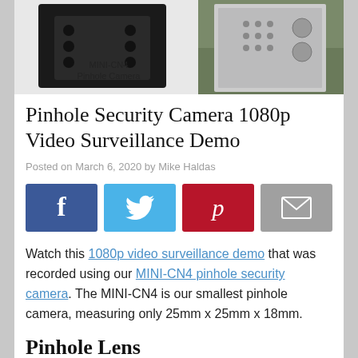[Figure (photo): Two photos side by side: left shows a black MINI-CN4 Pinhole Camera bracket/mount; right shows an outdoor security camera mounted on a wall/post with text 'MINI-CN4 Pinhole Camera' overlaid.]
Pinhole Security Camera 1080p Video Surveillance Demo
Posted on March 6, 2020 by Mike Haldas
[Figure (infographic): Social share buttons: Facebook (dark blue with f icon), Twitter (light blue with bird icon), Pinterest (red with p icon), Email (gray with envelope icon)]
Watch this 1080p video surveillance demo that was recorded using our MINI-CN4 pinhole security camera. The MINI-CN4 is our smallest pinhole camera, measuring only 25mm x 25mm x 18mm.
Pinhole Lens